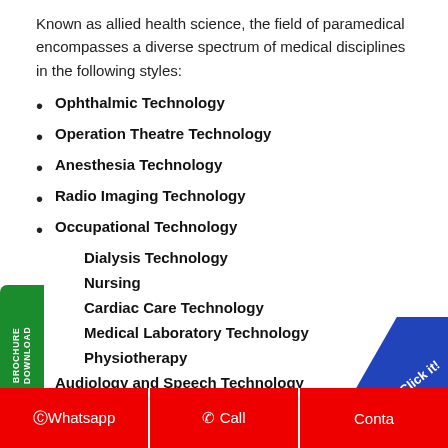Known as allied health science, the field of paramedical encompasses a diverse spectrum of medical disciplines in the following styles:
Ophthalmic Technology
Operation Theatre Technology
Anesthesia Technology
Radio Imaging Technology
Occupational Technology
Dialysis Technology
Nursing
Cardiac Care Technology
Medical Laboratory Technology
Physiotherapy
Audiology and Speech Technology
All these...
Whatsapp | Call | Contact